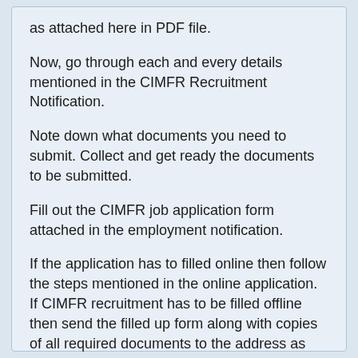as attached here in PDF file.
Now, go through each and every details mentioned in the CIMFR Recruitment Notification.
Note down what documents you need to submit. Collect and get ready the documents to be submitted.
Fill out the CIMFR job application form attached in the employment notification.
If the application has to filled online then follow the steps mentioned in the online application. If CIMFR recruitment has to be filled offline then send the filled up form along with copies of all required documents to the address as mention here.